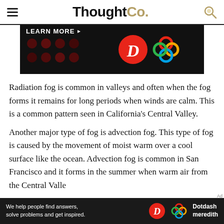ThoughtCo.
[Figure (other): Advertisement banner: dark background with LEARN MORE text, red D circle logo and colorful knot pattern logo]
Radiation fog is common in valleys and often when the fog forms it remains for long periods when winds are calm. This is a common pattern seen in California's Central Valley.
Another major type of fog is advection fog. This type of fog is caused by the movement of moist warm over a cool surface like the ocean. Advection fog is common in San Francisco and it forms in the summer when warm air from the Central Valle
[Figure (other): Bottom advertisement bar: We help people find answers, solve problems and get inspired. Dotdash meredith logo]